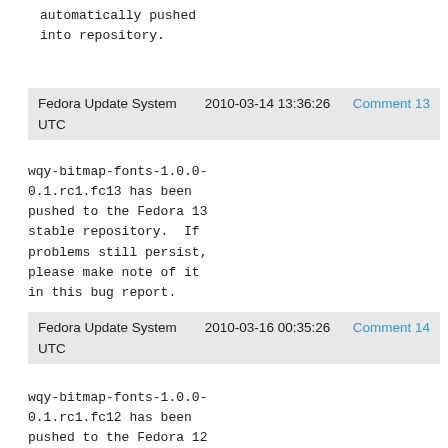automatically pushed
into repository.
Fedora Update System   2010-03-14 13:36:26   Comment 13
UTC
wqy-bitmap-fonts-1.0.0-
0.1.rc1.fc13 has been
pushed to the Fedora 13
stable repository.  If
problems still persist,
please make note of it
in this bug report.
Fedora Update System   2010-03-16 00:35:26   Comment 14
UTC
wqy-bitmap-fonts-1.0.0-
0.1.rc1.fc12 has been
pushed to the Fedora 12
stable repository.  If